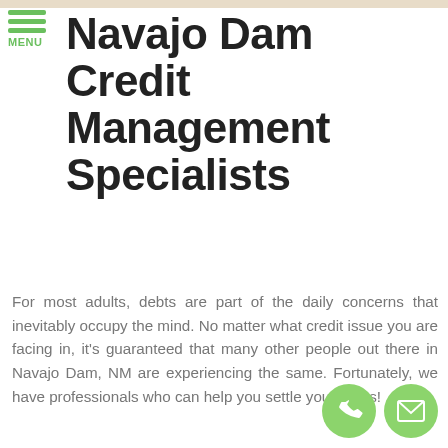Navajo Dam Credit Management Specialists
For most adults, debts are part of the daily concerns that inevitably occupy the mind. No matter what credit issue you are facing in, it's guaranteed that many other people out there in Navajo Dam, NM are experiencing the same. Fortunately, we have professionals who can help you settle your debts!
[Figure (illustration): Two green circular icon buttons at bottom right: a phone handset icon and an envelope/mail icon]